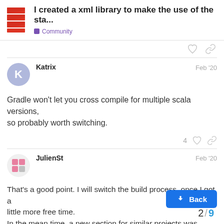I created a xml library to make the use of the sta... | Community
Katrix
Feb '20
Gradle won't let you cross compile for multiple scala versions, so probably worth switching.
JulienSt
Feb '20
That's a good point. I will switch the build process, once I got a little more free time.
In the mean time, a new section for similar projects was added to scala/scala-xml.
So, if somebody knows some libraries sim